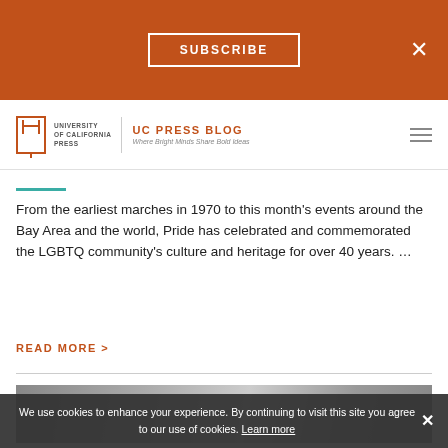SUBSCRIBE
[Figure (logo): University of California Press logo with UC Press Blog heading]
From the earliest marches in 1970 to this month's events around the Bay Area and the world, Pride has celebrated and commemorated the LGBTQ community's culture and heritage for over 40 years. …
READ MORE >
[Figure (photo): Black and white photo of a person]
We use cookies to enhance your experience. By continuing to visit this site you agree to our use of cookies. Learn more